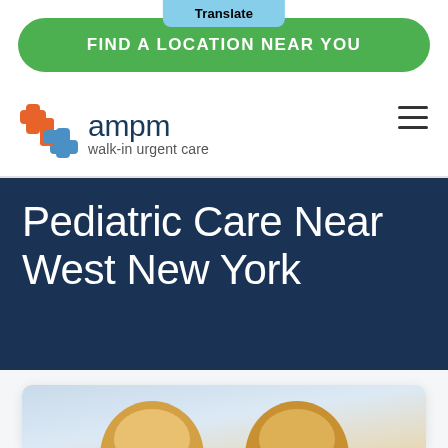Translate
FIND A LOCATION NEAR YOU
[Figure (logo): AMPM walk-in urgent care logo with orange and blue cross symbol]
Pediatric Care Near West New York
[Figure (photo): Two people (likely a child and adult) with blonde hair in a medical/clinical setting]